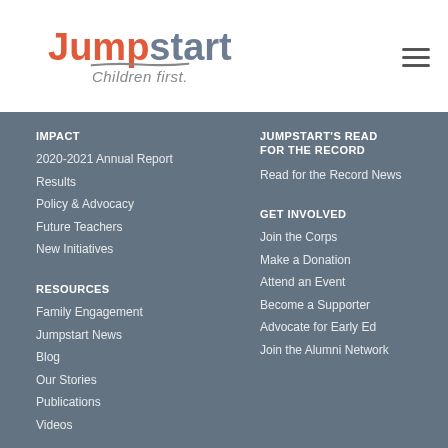[Figure (logo): Jumpstart logo with 'Children first' tagline]
IMPACT
2020-2021 Annual Report
Results
Policy & Advocacy
Future Teachers
New Initiatives
JUMPSTART'S READ FOR THE RECORD
Read for the Record News
RESOURCES
Family Engagement
Jumpstart News
Blog
Our Stories
Publications
Videos
GET INVOLVED
Join the Corps
Make a Donation
Attend an Event
Become a Supporter
Advocate for Early Ed
Join the Alumni Network